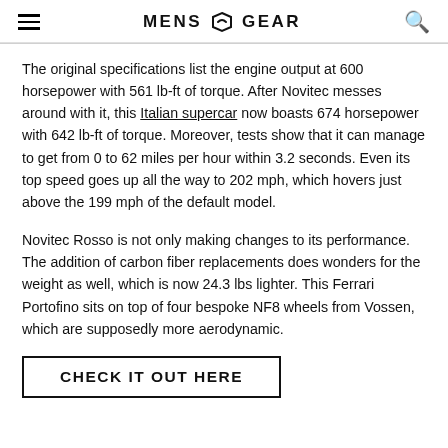MENS GEAR
The original specifications list the engine output at 600 horsepower with 561 lb-ft of torque. After Novitec messes around with it, this Italian supercar now boasts 674 horsepower with 642 lb-ft of torque. Moreover, tests show that it can manage to get from 0 to 62 miles per hour within 3.2 seconds. Even its top speed goes up all the way to 202 mph, which hovers just above the 199 mph of the default model.
Novitec Rosso is not only making changes to its performance. The addition of carbon fiber replacements does wonders for the weight as well, which is now 24.3 lbs lighter. This Ferrari Portofino sits on top of four bespoke NF8 wheels from Vossen, which are supposedly more aerodynamic.
CHECK IT OUT HERE